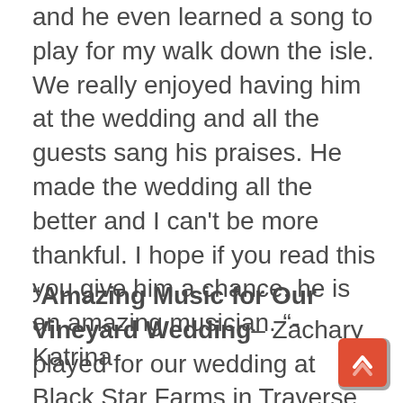and he even learned a song to play for my walk down the isle. We really enjoyed having him at the wedding and all the guests sang his praises. He made the wedding all the better and I can't be more thankful. I hope if you read this you give him a chance, he is an amazing musician. "-Katrina
"Amazing Music for Our Vineyard Wedding– Zachary played for our wedding at Black Star Farms in Traverse City. He played the prelude and music for our ceremony in the vineyard, then moved down to the Inn and played our cocktail hour. He played